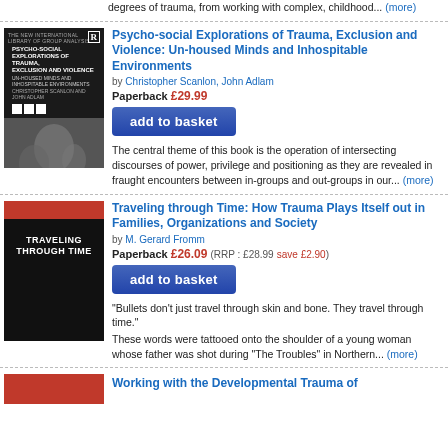degrees of trauma, from working with complex, childhood... (more)
[Figure (illustration): Book cover: Psycho-Social Explorations of Trauma, Exclusion and Violence, dark purple/black cover with classical artwork]
Psycho-social Explorations of Trauma, Exclusion and Violence: Un-housed Minds and Inhospitable Environments
by Christopher Scanlon, John Adlam
Paperback £29.99
add to basket
The central theme of this book is the operation of intersecting discourses of power, privilege and positioning as they are revealed in fraught encounters between in-groups and out-groups in our... (more)
[Figure (illustration): Book cover: Traveling through Time, black cover with red bar at top and white bold text]
Traveling through Time: How Trauma Plays Itself out in Families, Organizations and Society
by M. Gerard Fromm
Paperback £26.09 (RRP : £28.99 save £2.90)
add to basket
“Bullets don’t just travel through skin and bone. They travel through time.”
These words were tattooed onto the shoulder of a young woman whose father was shot during “The Troubles” in Northern... (more)
[Figure (illustration): Partial book cover: Working with the Developmental Trauma of..., red cover]
Working with the Developmental Trauma of...